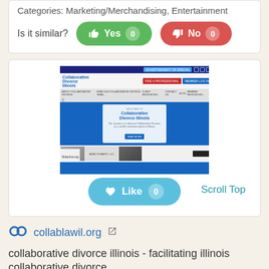Categories: Marketing/Merchandising, Entertainment
Is it similar?
[Figure (screenshot): Screenshot of collablawil.org (Collaborative Divorce Illinois) website showing blue header with navigation and hero section]
Scroll Top
Like 0
collablawil.org
collaborative divorce illinois - facilitating illinois collaborative divorce